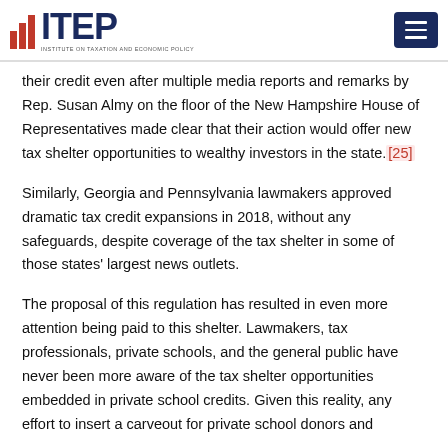ITEP — Institute on Taxation and Economic Policy
their credit even after multiple media reports and remarks by Rep. Susan Almy on the floor of the New Hampshire House of Representatives made clear that their action would offer new tax shelter opportunities to wealthy investors in the state.[25]
Similarly, Georgia and Pennsylvania lawmakers approved dramatic tax credit expansions in 2018, without any safeguards, despite coverage of the tax shelter in some of those states' largest news outlets.
The proposal of this regulation has resulted in even more attention being paid to this shelter. Lawmakers, tax professionals, private schools, and the general public have never been more aware of the tax shelter opportunities embedded in private school credits. Given this reality, any effort to insert a carveout for private school donors and